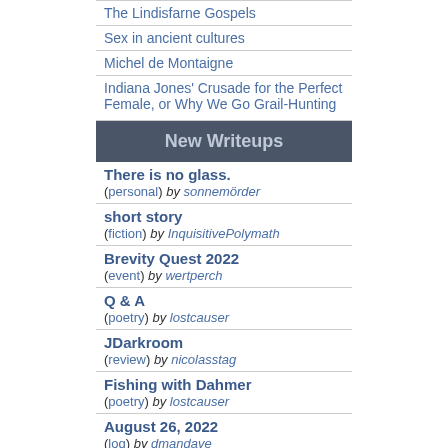The Lindisfarne Gospels
Sex in ancient cultures
Michel de Montaigne
Indiana Jones' Crusade for the Perfect Female, or Why We Go Grail-Hunting
New Writeups
There is no glass. (personal) by sonnemörder
short story (fiction) by InquisitivePolymath
Brevity Quest 2022 (event) by wertperch
Q & A (poetry) by lostcauser
JDarkroom (review) by nicolasstag
Fishing with Dahmer (poetry) by lostcauser
August 26, 2022 (log) by dmandave
tilt (review) by JD
close (poetry) by lostcauser
The literal horror of an existence (personal) by losthuskie
(more)